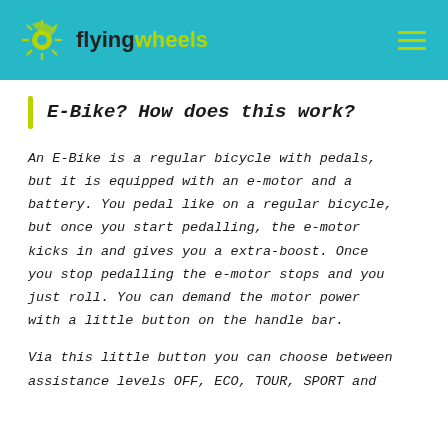flyingwheels
E-Bike? How does this work?
An E-Bike is a regular bicycle with pedals, but it is equipped with an e-motor and a battery. You pedal like on a regular bicycle, but once you start pedalling, the e-motor kicks in and gives you a extra-boost. Once you stop pedalling the e-motor stops and you just roll. You can demand the motor power with a little button on the handle bar.
Via this little button you can choose between assistance levels OFF, ECO, TOUR, SPORT and